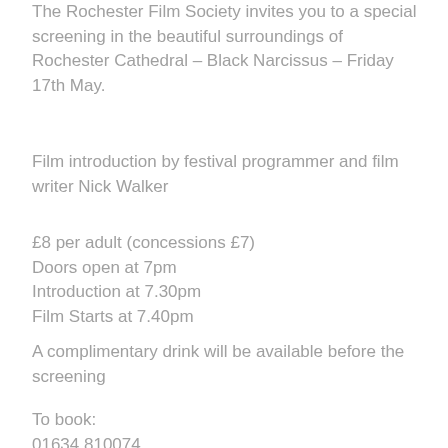The Rochester Film Society invites you to a special screening in the beautiful surroundings of Rochester Cathedral – Black Narcissus – Friday 17th May.
Film introduction by festival programmer and film writer Nick Walker
£8 per adult (concessions £7)
Doors open at 7pm
Introduction at 7.30pm
Film Starts at 7.40pm
A complimentary drink will be available before the screening
To book:
01634 810074